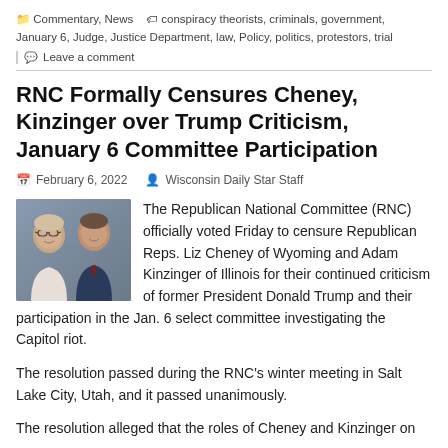Commentary, News   conspiracy theorists, criminals, government, January 6, Judge, Justice Department, law, Policy, politics, protestors, trial
Leave a comment
RNC Formally Censures Cheney, Kinzinger over Trump Criticism, January 6 Committee Participation
February 6, 2022   Wisconsin Daily Star Staff
[Figure (photo): Photo of two people (Liz Cheney and Adam Kinzinger)]
The Republican National Committee (RNC) officially voted Friday to censure Republican Reps. Liz Cheney of Wyoming and Adam Kinzinger of Illinois for their continued criticism of former President Donald Trump and their participation in the Jan. 6 select committee investigating the Capitol riot.
The resolution passed during the RNC's winter meeting in Salt Lake City, Utah, and it passed unanimously.
The resolution alleged that the roles of Cheney and Kinzinger on